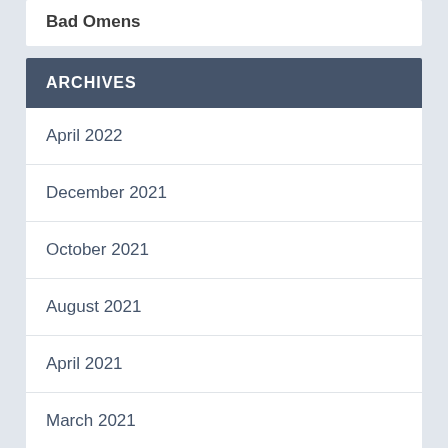Bad Omens
ARCHIVES
April 2022
December 2021
October 2021
August 2021
April 2021
March 2021
February 2021